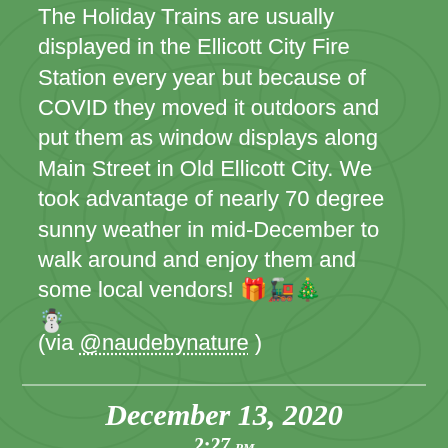The Holiday Trains are usually displayed in the Ellicott City Fire Station every year but because of COVID they moved it outdoors and put them as window displays along Main Street in Old Ellicott City. We took advantage of nearly 70 degree sunny weather in mid-December to walk around and enjoy them and some local vendors! 🎁🚂🎄☃️
(via @naudebynature )
December 13, 2020
2:27 PM
Vera was 3 years 9 months old.